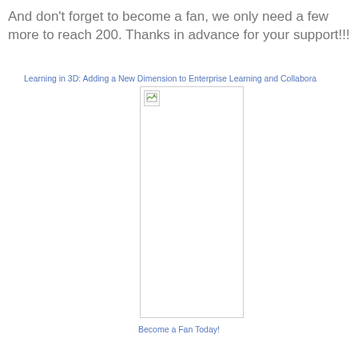And don't forget to become a fan, we only need a few more to reach 200. Thanks in advance for your support!!!
Learning in 3D: Adding a New Dimension to Enterprise Learning and Collabora
[Figure (photo): Broken image placeholder — tall rectangular image that failed to load, showing only a small broken image icon in the top-left corner]
Become a Fan Today!